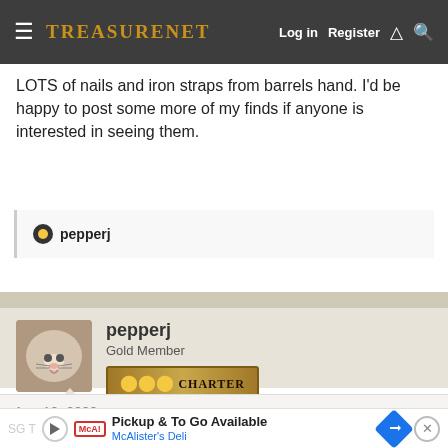TreasureNet  Log in  Register
LOTS of nails and iron straps from barrels hand. I'd be happy to post some more of my finds if anyone is interested in seeing them.
pepperj
pepperj
Gold Member
CHARTER MEMBER
Aug 10, 2022  #20
[Figure (screenshot): Advertisement banner: Pickup & To Go Available - McAlister's Deli with play button, McAlister's logo, navigation arrow icon, and close button]